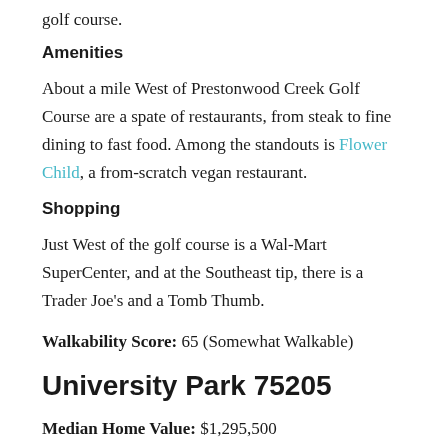golf course.
Amenities
About a mile West of Prestonwood Creek Golf Course are a spate of restaurants, from steak to fine dining to fast food. Among the standouts is Flower Child, a from-scratch vegan restaurant.
Shopping
Just West of the golf course is a Wal-Mart SuperCenter, and at the Southeast tip, there is a Trader Joe's and a Tomb Thumb.
Walkability Score: 65 (Somewhat Walkable)
University Park 75205
Median Home Value: $1,295,500